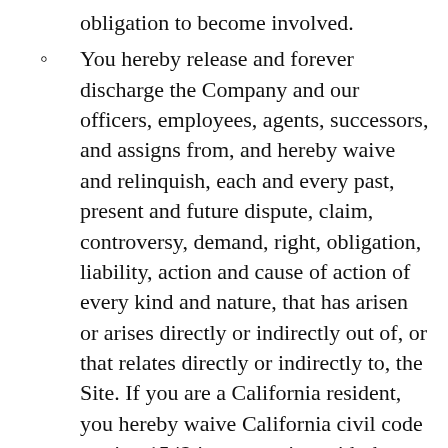obligation to become involved.
You hereby release and forever discharge the Company and our officers, employees, agents, successors, and assigns from, and hereby waive and relinquish, each and every past, present and future dispute, claim, controversy, demand, right, obligation, liability, action and cause of action of every kind and nature, that has arisen or arises directly or indirectly out of, or that relates directly or indirectly to, the Site. If you are a California resident, you hereby waive California civil code section 1542 in connection with the foregoing, which states: “a general release does not extend to claims which the creditor does not know or suspect to exist in his or her